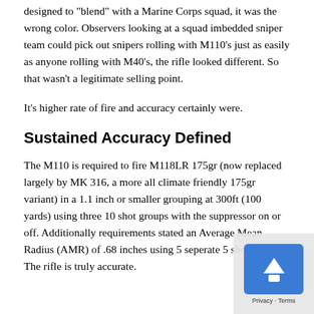designed to "blend" with a Marine Corps squad, it was the wrong color. Observers looking at a squad imbedded sniper team could pick out snipers rolling with M110's just as easily as anyone rolling with M40's, the rifle looked different. So that wasn't a legitimate selling point.
It's higher rate of fire and accuracy certainly were.
Sustained Accuracy Defined
The M110 is required to fire M118LR 175gr (now replaced largely by MK 316, a more all climate friendly 175gr variant) in a 1.1 inch or smaller grouping at 300ft (100 yards) using three 10 shot groups with the suppressor on or off. Additionally requirements stated an Average Mean Radius (AMR) of .68 inches using 5 seperate 5 shot groups. The rifle is truly accurate.